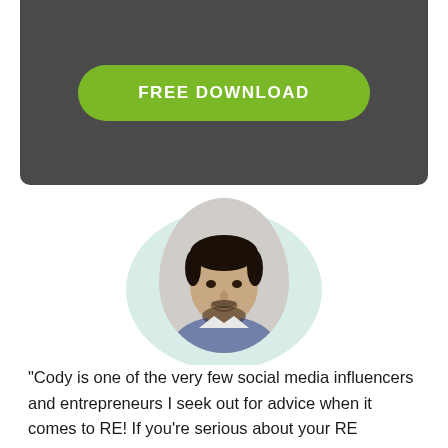[Figure (other): Dark grey banner with a green rounded button labeled FREE DOWNLOAD]
[Figure (photo): Circular portrait photo of a young man with dark hair and beard, wearing a blue blazer, set against a light teal blob background shape]
"Cody is one of the very few social media influencers and entrepreneurs I seek out for advice when it comes to RE! If you're serious about your RE investing and building out a fortune, this is the man to help you. Note: it won't work if